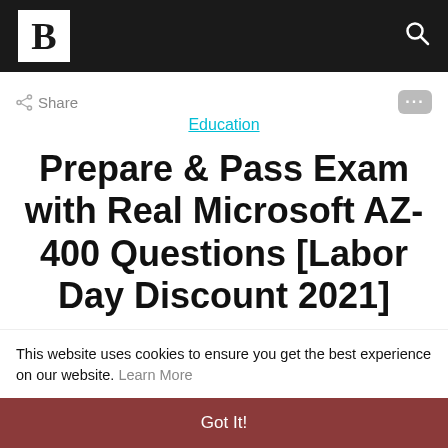B [logo] [search icon]
< Share
...
Education
Prepare & Pass Exam with Real Microsoft AZ-400 Questions [Labor Day Discount 2021]
This website uses cookies to ensure you get the best experience on our website. Learn More
Got It!